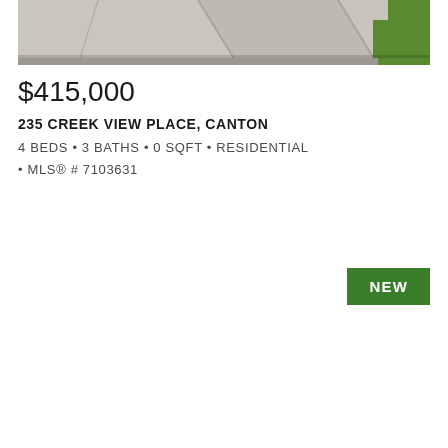[Figure (photo): Aerial or close-up view of concrete pavers/driveway with grass visible on the right side]
$415,000
235 CREEK VIEW PLACE, CANTON
4 BEDS • 3 BATHS • 0 SQFT • RESIDENTIAL • MLS® # 7103631
NEW